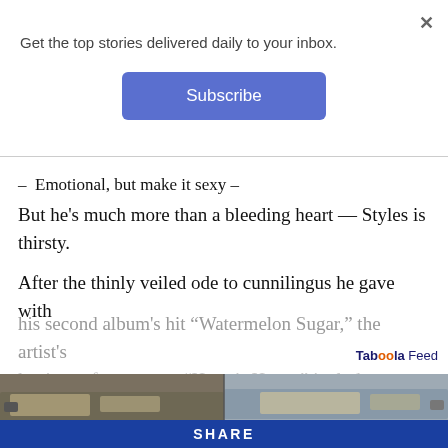Get the top stories delivered daily to your inbox.
Subscribe
– Emotional, but make it sexy –
But he's much more than a bleeding heart — Styles is thirsty.
After the thinly veiled ode to cunnilingus he gave with his second album's hit “Watermelon Sugar,” the artist's lustiest references on “Harry's House” include wet
Read More
Taboola Feed
[Figure (photo): Photo showing car hoods/windshields covered in debris or dirt, two vehicles side by side]
SHARE